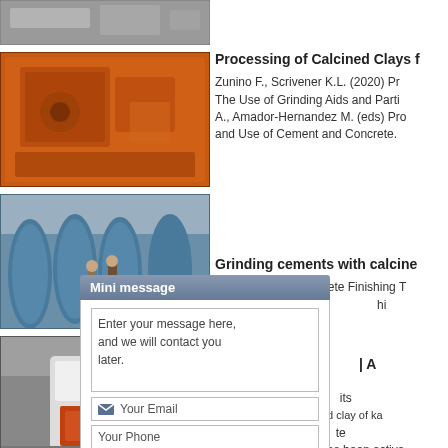[Figure (photo): Industrial machinery photo at top of left column (grey/metal equipment)]
[Figure (photo): Large orange industrial impact crusher machine]
[Figure (photo): Two workers inspecting large blue industrial mill machines in a factory]
[Figure (photo): White and orange industrial vertical shaft impact crusher in a factory]
Processing of Calcined Clays f
Zunino F., Scrivener K.L. (2020) Pr The Use of Grinding Aids and Parti A., Amador-Hernandez M. (eds) Pro and Use of Cement and Concrete.
Grinding cements with calcine
Mar 20, 2018 · Concrete Finishing T Duration: [Mini message popup] hi
Calcined | A
Sep 26, 20 [popup] its blend of 60% of calcined clay of kae Suppleme [popup] tem within 40-50%, and has been activa